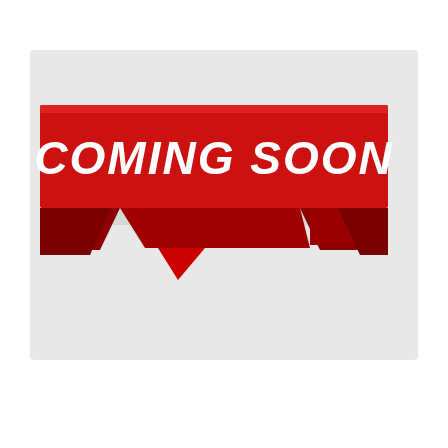[Figure (illustration): A red ribbon/banner graphic with bold white uppercase text 'COMING SOON'. The banner has a 3D folded ribbon effect with darker red shadow folds below and a speech-bubble-style pointed tail at the bottom center-left. The background is light gray.]